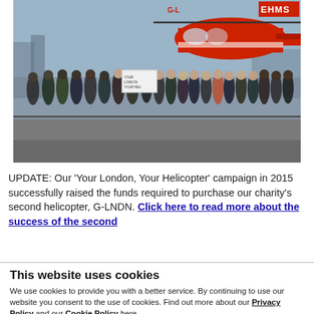[Figure (photo): Group photo of approximately 30 people standing in front of a red and white helicopter on a rooftop or tarmac, with a city skyline in the background. The helicopter has markings including 'EHMS'. This appears to be a London Air Ambulance charity photo.]
UPDATE: Our 'Your London, Your Helicopter' campaign in 2015 successfully raised the funds required to purchase our charity's second helicopter, G-LNDN. Click here to read more about the success of the second
This website uses cookies
We use cookies to provide you with a better service. By continuing to use our website you consent to the use of cookies. Find out more about our Privacy Policy and our Cookie Policy here.